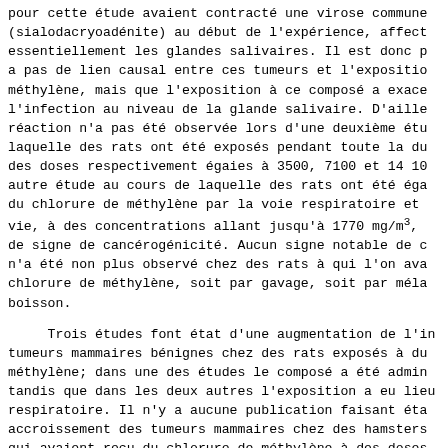pour cette étude avaient contracté une virose commune (sialodacryoadénite) au début de l'expérience, affectant essentiellement les glandes salivaires. Il est donc pas de lien causal entre ces tumeurs et l'exposition au méthylène, mais que l'exposition à ce composé a exacerbé l'infection au niveau de la glande salivaire. D'ailleurs, cette réaction n'a pas été observée lors d'une deuxième étude au cours de laquelle des rats ont été exposés pendant toute la durée à des doses respectivement égaies à 3500, 7100 et 14 100 mg/m³. Dans une autre étude au cours de laquelle des rats ont été exposés à du chlorure de méthylène par la voie respiratoire et pendant toute leur vie, à des concentrations allant jusqu'à 1770 mg/m³, on n'a observé aucun de signe de cancérogénicité. Aucun signe notable de cancérogénicité n'a été non plus observé chez des rats à qui l'on avait administré du chlorure de méthylène, soit par gavage, soit par mélange dans la boisson.
Trois études font état d'une augmentation de l'incidence des tumeurs mammaires bénignes chez des rats exposés à du chlorure de méthylène; dans une des études le composé a été administré par gavage, tandis que dans les deux autres l'exposition a eu lieu par voie respiratoire. Il n'y a aucune publication faisant état d'un accroissement des tumeurs mammaires chez des hamsters ou des souris qui avaient reçu du chlorure de méthylène à des doses élevées. On a établi sans aucun doute possible que les tumeurs mammaires sont liées aux hormones hypophysaires tant chez les rats mâles que femelles. Chez le rat, la prolactine se comporte à la fois comme un initiateur et comme un promoteur des cancers mammaires. Il y a des raisons de penser qu'un accroissement du taux de prolactine lié à divers phénomènes peut entraîner une augmentation de l'incidence de ces tumeurs.